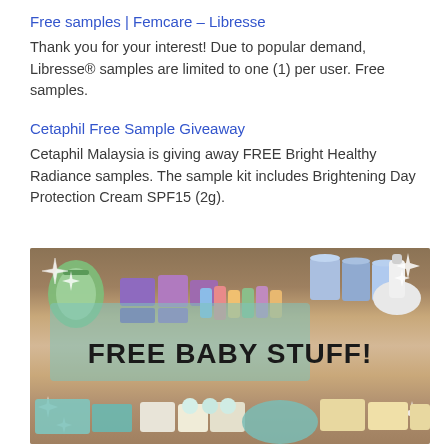Free samples | Femcare – Libresse
Thank you for your interest! Due to popular demand, Libresse® samples are limited to one (1) per user. Free samples.
Cetaphil Free Sample Giveaway
Cetaphil Malaysia is giving away FREE Bright Healthy Radiance samples. The sample kit includes Brightening Day Protection Cream SPF15 (2g).
[Figure (photo): Photo of a large collection of baby products spread on a floor including formula tins, diapers, nursing supplies, and various baby items. A teal banner in the center reads 'FREE BABY STUFF!' with decorative sparkle graphics around the edges.]